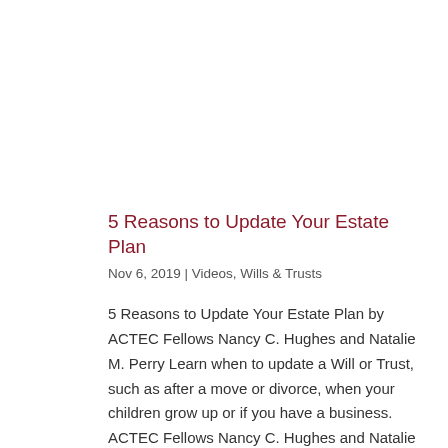5 Reasons to Update Your Estate Plan
Nov 6, 2019 | Videos, Wills & Trusts
5 Reasons to Update Your Estate Plan by ACTEC Fellows Nancy C. Hughes and Natalie M. Perry Learn when to update a Will or Trust, such as after a move or divorce, when your children grow up or if you have a business. ACTEC Fellows Nancy C. Hughes and Natalie M. Perry...